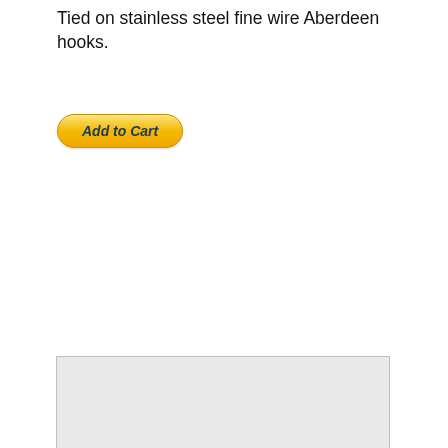Tied on stainless steel fine wire Aberdeen hooks.
[Figure (other): Add to Cart button with golden/yellow gradient pill shape and dark blue italic bold text]
[Figure (photo): Photo of a fishing fly lure (Zero Muddler #6) with red feathers and dark brown/black fur body on a hook, against a light gray background]
Zero Muddler #6  -  75p each
Tied on stainless steel fine wire Aberdeen